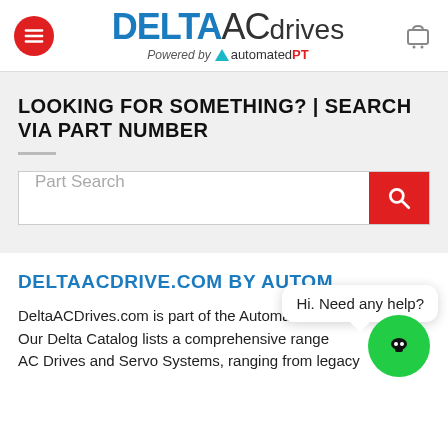[Figure (logo): Delta AC Drives logo powered by AutomatedPT, with red hamburger menu button on left and cart icon on right]
LOOKING FOR SOMETHING? | SEARCH VIA PART NUMBER
[Figure (screenshot): Part Search input bar with red search button]
DELTAACDRIVE.COM BY AUTOM
DeltaACDrives.com is part of the AutomatedPT fa... Our Delta Catalog lists a comprehensive range of AC Drives and Servo Systems, ranging from legacy to...
[Figure (screenshot): Chat widget with bubble saying 'Hi. Need any help?' and green bot icon]